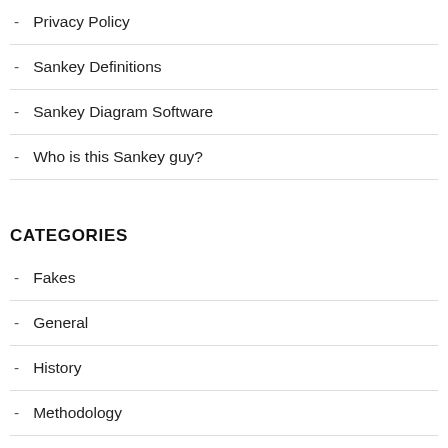Privacy Policy
Sankey Definitions
Sankey Diagram Software
Who is this Sankey guy?
CATEGORIES
Fakes
General
History
Methodology